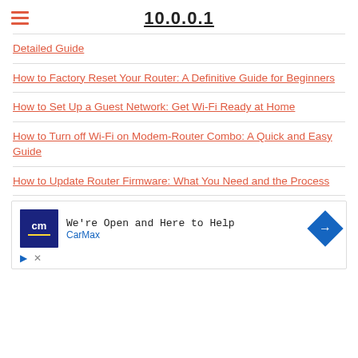10.0.0.1
Detailed Guide
How to Factory Reset Your Router: A Definitive Guide for Beginners
How to Set Up a Guest Network: Get Wi-Fi Ready at Home
How to Turn off Wi-Fi on Modem-Router Combo: A Quick and Easy Guide
How to Update Router Firmware: What You Need and the Process
[Figure (screenshot): CarMax advertisement: 'We're Open and Here to Help' with CarMax logo and blue arrow icon]